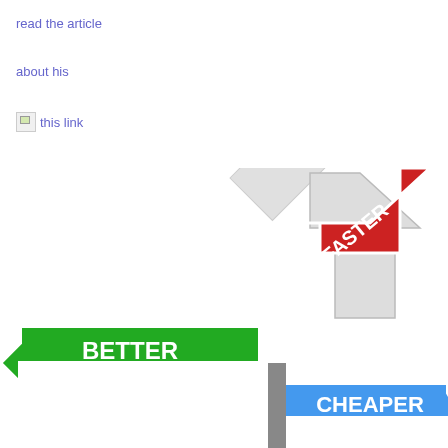read the article
about his
this link
[Figure (illustration): Three directional arrow signs on a pole: a green arrow pointing left labeled BETTER, a red arrow pointing upper-right labeled FASTER, and a blue arrow pointing right labeled CHEAPER, with a white arrow behind them pointing upper-right.]